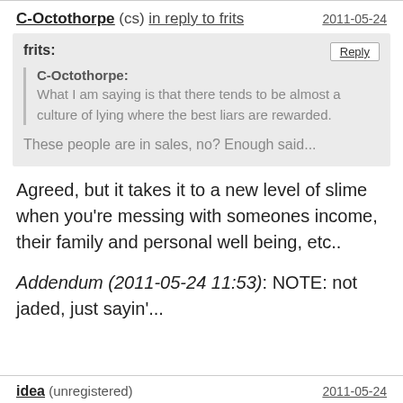C-Octothorpe (cs) in reply to frits — 2011-05-24
frits: [Reply button]
C-Octothorpe: What I am saying is that there tends to be almost a culture of lying where the best liars are rewarded.
These people are in sales, no? Enough said...
Agreed, but it takes it to a new level of slime when you're messing with someones income, their family and personal well being, etc..
Addendum (2011-05-24 11:53): NOTE: not jaded, just sayin'...
idea (unregistered) — 2011-05-24